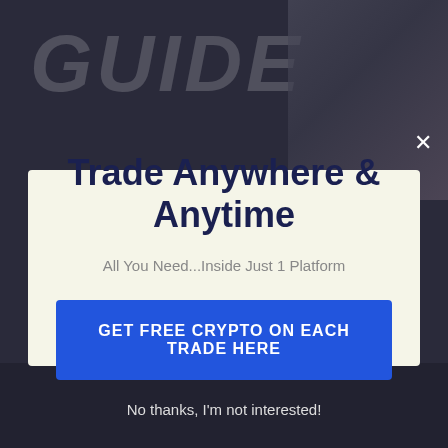[Figure (screenshot): Dark background with large italic 'GUIDE' text watermark and a person wearing glasses visible in the top right corner]
Trade Anywhere & Anytime
All You Need...Inside Just 1 Platform
GET FREE CRYPTO ON EACH TRADE HERE
No thanks, I'm not interested!